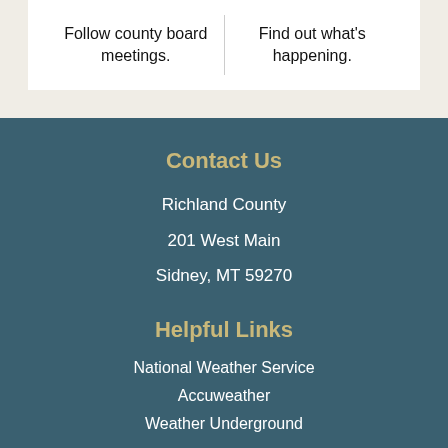Follow county board meetings.
Find out what's happening.
Contact Us
Richland County
201 West Main
Sidney, MT 59270
Helpful Links
National Weather Service
Accuweather
Weather Underground